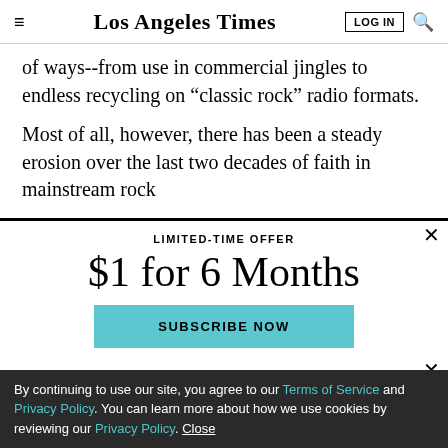Los Angeles Times
of ways--from use in commercial jingles to endless recycling on “classic rock” radio formats.
Most of all, however, there has been a steady erosion over the last two decades of faith in mainstream rock
LIMITED-TIME OFFER
$1 for 6 Months
SUBSCRIBE NOW
By continuing to use our site, you agree to our Terms of Service and Privacy Policy. You can learn more about how we use cookies by reviewing our Privacy Policy. Close